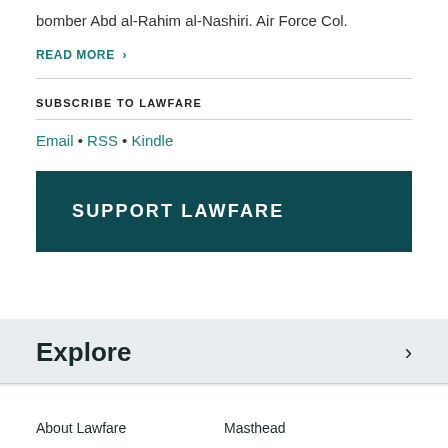bomber Abd al-Rahim al-Nashiri. Air Force Col.
READ MORE >
SUBSCRIBE TO LAWFARE
Email • RSS • Kindle
SUPPORT LAWFARE
Explore >
About Lawfare
Masthead